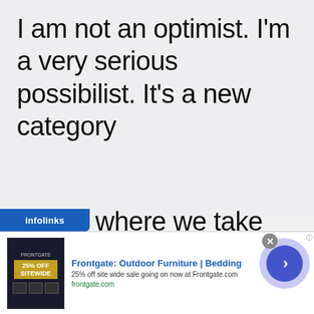I am not an optimist. I'm a very serious possibilist. It's a new category where we take
[Figure (infographic): Infolinks advertising banner overlay at bottom of page showing 'Frontgate: Outdoor Furniture | Bedding' ad with '25% off site wide sale going on now at Frontgate.com', frontgate.com URL, ad image with '25% OFF SITEWIDE' badge, close button, and navigation arrow button]